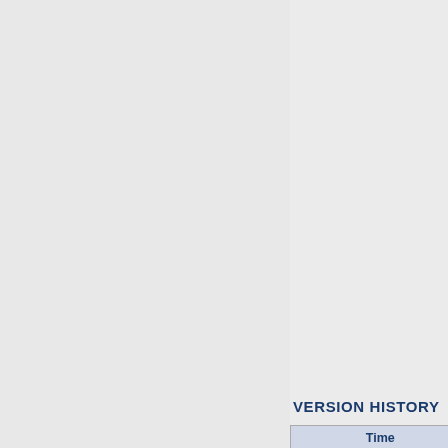| Notes: |
| --- |
CHARACTERISTICS
| Temperature | Measurement |
| --- | --- |
| No characteristics available! |  |
Upload new characteristic...
PROGRESSION OF THE CU
| Upload time |
| --- |
| No data available! |
Upload new progression data...
VERSION HISTORY
| Time |
| --- |
| 16. Apr 2021 22:09:57 CEST | jm |
| 30. Mar 2021 15:06:43 CEST | jm |
| 05. Feb 2021 11:11:42 CET | jm |
| 03. Feb 2021 18:06:48 CET | jm |